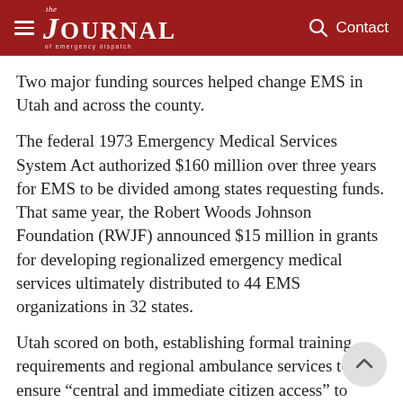the JOURNAL of emergency dispatch — Contact
Two major funding sources helped change EMS in Utah and across the county.
The federal 1973 Emergency Medical Services System Act authorized $160 million over three years for EMS to be divided among states requesting funds. That same year, the Robert Woods Johnson Foundation (RWJF) announced $15 million in grants for developing regionalized emergency medical services ultimately distributed to 44 EMS organizations in 32 states.
Utah scored on both, establishing formal training requirements and regional ambulance services to ensure “central and immediate citizen access” to EMS and creating central control of EMS communications. Interestingly, the RWJF grant